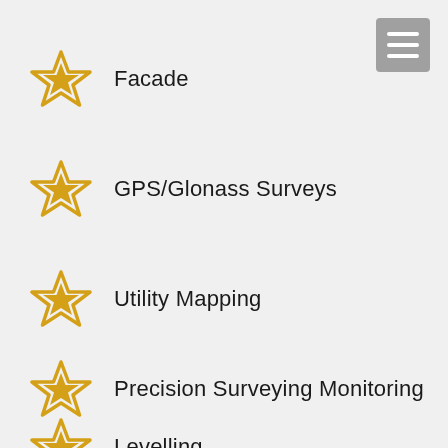[Figure (illustration): Menu icon button (hamburger) in grey square, top right corner]
Facade
GPS/Glonass Surveys
Utility Mapping
Precision Surveying Monitoring
Levelling